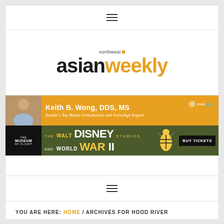≡ (hamburger menu)
[Figure (logo): Northwest Asian Weekly logo — 'northwest' in small text with orange square, 'asian' in large black bold, 'weekly' in large orange bold]
[Figure (infographic): Advertisement banner for Keith B. Wong DDS MS — Seattle's Top Rated Orthodontist and Invisalign Expert, orange background with photo]
[Figure (infographic): Advertisement banner for The Museum of Flight — The Walt Disney Studios and World War II exhibition, dark olive green background with BUY TICKETS button]
≡ (hamburger menu)
YOU ARE HERE: HOME / ARCHIVES FOR HOOD RIVER